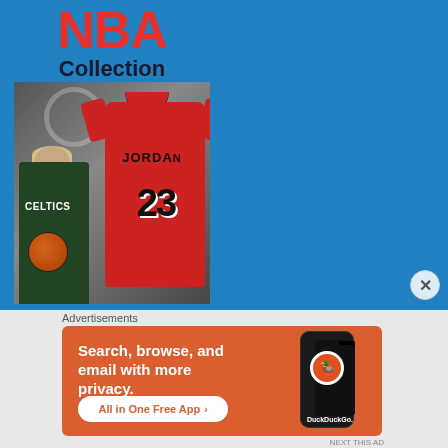[Figure (illustration): NBA Collection advertisement showing a red Michael Jordan #23 Bulls jersey and a player (Larry Bird) in a Celtics uniform holding a basketball, on a blue background]
Advertisements
[Figure (illustration): DuckDuckGo advertisement on orange background with text 'Search, browse, and email with more privacy. All in One Free App' with a smartphone showing DuckDuckGo logo]